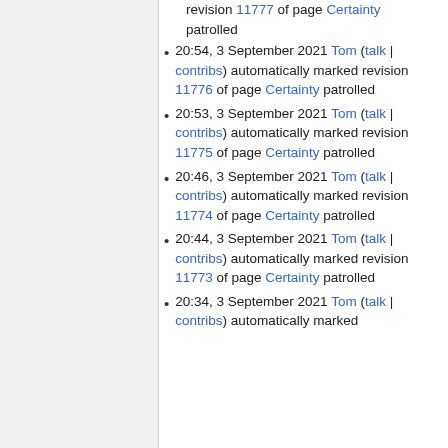revision 11777 of page Certainty patrolled
20:54, 3 September 2021 Tom (talk | contribs) automatically marked revision 11776 of page Certainty patrolled
20:53, 3 September 2021 Tom (talk | contribs) automatically marked revision 11775 of page Certainty patrolled
20:46, 3 September 2021 Tom (talk | contribs) automatically marked revision 11774 of page Certainty patrolled
20:44, 3 September 2021 Tom (talk | contribs) automatically marked revision 11773 of page Certainty patrolled
20:34, 3 September 2021 Tom (talk | contribs) automatically marked